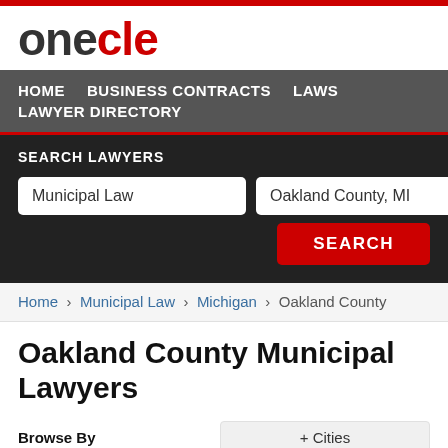onecle
HOME  BUSINESS CONTRACTS  LAWS  LAWYER DIRECTORY
SEARCH LAWYERS
Municipal Law | Oakland County, MI | SEARCH
Home › Municipal Law › Michigan › Oakland County
Oakland County Municipal Lawyers
Browse By  + Cities